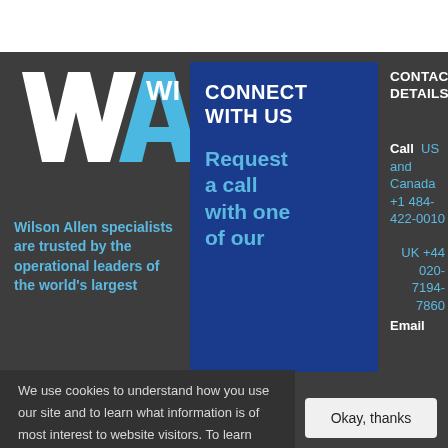[Figure (logo): Wilson Allen logo with stylized W and A letters in white and blue, partially obscured by connect box]
[Figure (infographic): Blue box with text CONNECT WITH US and Request a call with one of our]
Wilson Allen specialists are trusted by the operational leaders of the world's largest
CONTACT DETAILS
Call  US and Canada +1 484-422-0010
UK +44 020-7194-7860
Email
We use cookies to understand how you use our site and to learn what information is of most interest to website visitors. To learn more, click here. By continuing to use our site, you accept our use of cookies and our Terms of Use.